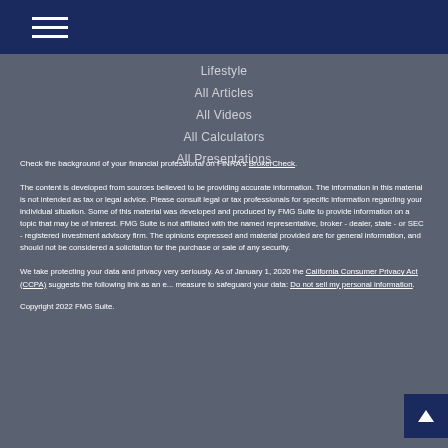Navigation menu (hamburger icon)
Lifestyle
All Articles
All Videos
All Calculators
All Presentations
Check the background of your financial professional on FINRA's BrokerCheck.
The content is developed from sources believed to be providing accurate information. The information in this material is not intended as tax or legal advice. Please consult legal or tax professionals for specific information regarding your individual situation. Some of this material was developed and produced by FMG Suite to provide information on a topic that may be of interest. FMG Suite is not affiliated with the named representative, broker - dealer, state - or SEC - registered investment advisory firm. The opinions expressed and material provided are for general information, and should not be considered a solicitation for the purchase or sale of any security.
We take protecting your data and privacy very seriously. As of January 1, 2020 the California Consumer Privacy Act (CCPA) suggests the following link as an extra measure to safeguard your data: Do not sell my personal information.
Copyright 2022 FMG Suite.